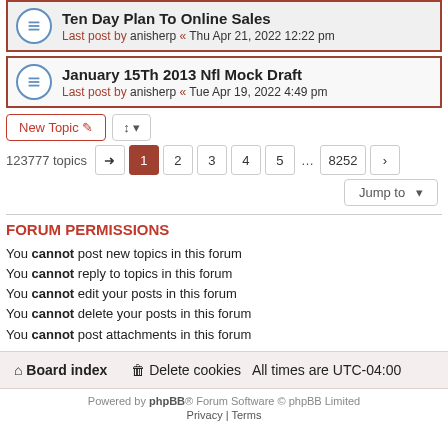Ten Day Plan To Online Sales — Last post by anisherp « Thu Apr 21, 2022 12:22 pm
January 15Th 2013 Nfl Mock Draft — Last post by anisherp « Tue Apr 19, 2022 4:49 pm
New Topic | Sort | 123777 topics | Page 1 2 3 4 5 ... 8252 >
Jump to
FORUM PERMISSIONS
You cannot post new topics in this forum
You cannot reply to topics in this forum
You cannot edit your posts in this forum
You cannot delete your posts in this forum
You cannot post attachments in this forum
Board index | Delete cookies | All times are UTC-04:00
Powered by phpBB® Forum Software © phpBB Limited
Privacy | Terms